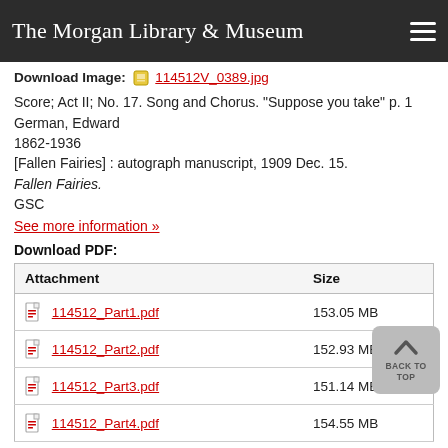The Morgan Library & Museum
Download Image: 114512V_0389.jpg
Score; Act II; No. 17. Song and Chorus. "Suppose you take" p. 1
German, Edward
1862-1936
[Fallen Fairies] : autograph manuscript, 1909 Dec. 15.
Fallen Fairies.
GSC
See more information »
Download PDF:
| Attachment | Size |
| --- | --- |
| 114512_Part1.pdf | 153.05 MB |
| 114512_Part2.pdf | 152.93 MB |
| 114512_Part3.pdf | 151.14 MB |
| 114512_Part4.pdf | 154.55 MB |